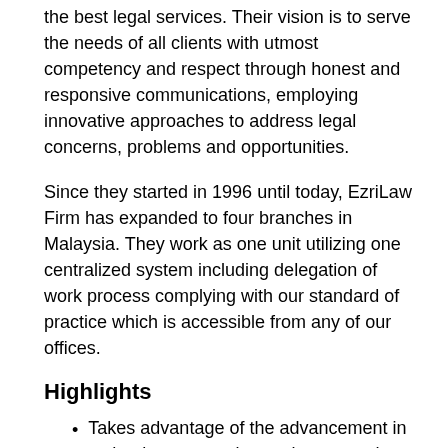the best legal services. Their vision is to serve the needs of all clients with utmost competency and respect through honest and responsive communications, employing innovative approaches to address legal concerns, problems and opportunities.
Since they started in 1996 until today, EzriLaw Firm has expanded to four branches in Malaysia. They work as one unit utilizing one centralized system including delegation of work process complying with our standard of practice which is accessible from any of our offices.
Highlights
Takes advantage of the advancement in technology to monitor and manage the risks for all of their cases and projects
Various practice areas
10. Michael Tie & Co